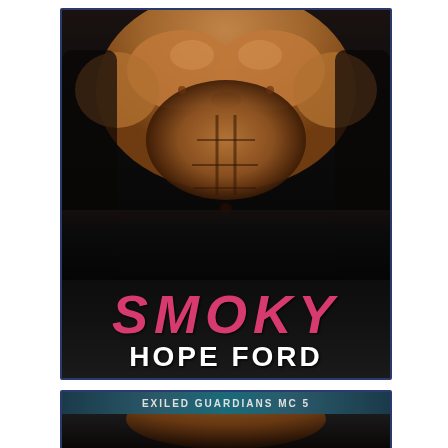[Figure (illustration): Book cover for 'Smoky' by Hope Ford. Top portion shows a muscular male torso (shirtless) against a dark background. Below the photo, large pink glittery text reads 'SMOKY' and below that white bold text reads 'HOPE FORD'. The cover has a dark navy/blue border.]
SMOKY
HOPE FORD
[Figure (illustration): Partial second book cover showing a teal/dark header banner with 'EXILED GUARDIANS MC 5' text, and below it a partially visible torso image.]
EXILED GUARDIANS MC 5